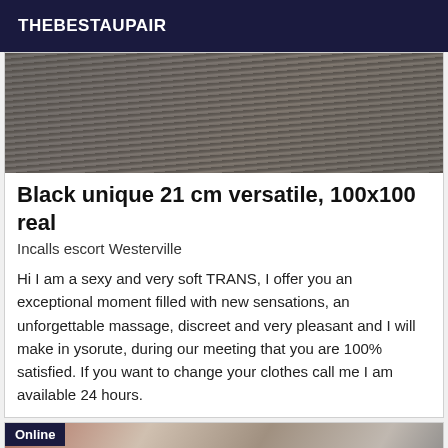THEBESTAUPAIR
[Figure (photo): Photo of a wooden deck/table surface with a wine glass]
Black unique 21 cm versatile, 100x100 real
Incalls escort Westerville
Hi I am a sexy and very soft TRANS, I offer you an exceptional moment filled with new sensations, an unforgettable massage, discreet and very pleasant and I will make in ysorute, during our meeting that you are 100% satisfied. If you want to change your clothes call me I am available 24 hours.
[Figure (photo): Partially visible photo with Online badge overlay]